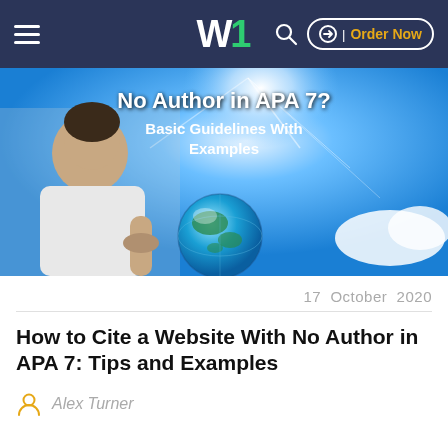W1 — Order Now
[Figure (photo): Hero image showing a young man holding a glowing globe against a bright blue sky, with text overlay 'No Author in APA 7? Basic Guidelines With Examples']
17  October  2020
How to Cite a Website With No Author in APA 7: Tips and Examples
Alex Turner